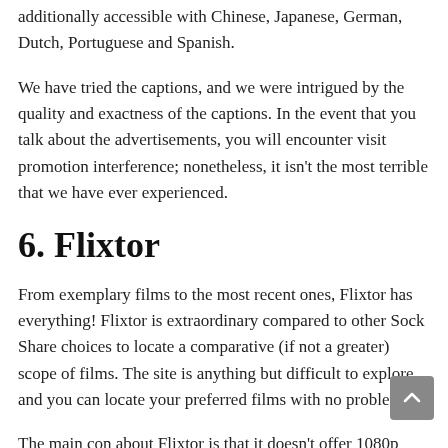additionally accessible with Chinese, Japanese, German, Dutch, Portuguese and Spanish.
We have tried the captions, and we were intrigued by the quality and exactness of the captions. In the event that you talk about the advertisements, you will encounter visit promotion interference; nonetheless, it isn't the most terrible that we have ever experienced.
6. Flixtor
From exemplary films to the most recent ones, Flixtor has everything! Flixtor is extraordinary compared to other Sock Share choices to locate a comparative (if not a greater) scope of films. The site is anything but difficult to explore, and you can locate your preferred films with no problem.
The main con about Flixtor is that it doesn't offer 1080p goal films to nonmembers, you need to enroll to have the option to appreciate the FHD online film streaming alternative. Nonetheless, they offer free enrollment, so